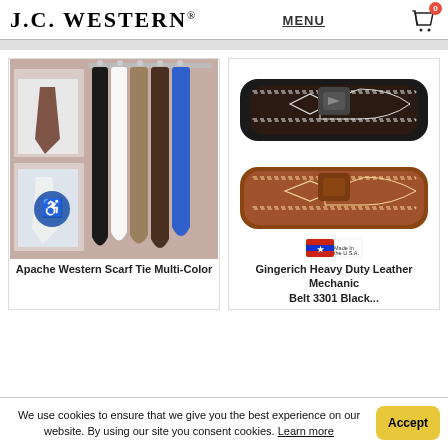J.C. WESTERN® MENU
[Figure (photo): Apache Western Scarf Tie Multi-Color: scarf ties in black, white, brown, blue hanging on rack, with person wearing brown scarf tie inset]
[Figure (photo): Gingerich Heavy Duty Leather Mechanic Belt 3301 Black and Brown leather belts with diamond stitch pattern, Made in the USA badge]
Apache Western Scarf Tie Multi-Color
Gingerich Heavy Duty Leather Mechanic Belt 3301 Black...
We use cookies to ensure that we give you the best experience on our website. By using our site you consent cookies. Learn more